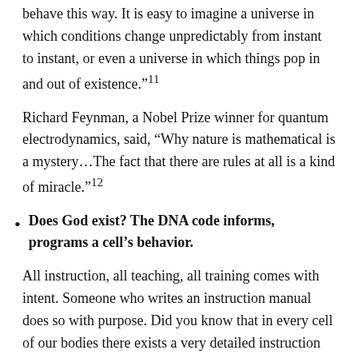behave this way. It is easy to imagine a universe in which conditions change unpredictably from instant to instant, or even a universe in which things pop in and out of existence.”¹¹
Richard Feynman, a Nobel Prize winner for quantum electrodynamics, said, “Why nature is mathematical is a mystery…The fact that there are rules at all is a kind of miracle.”¹²
Does God exist? The DNA code informs, programs a cell’s behavior.
All instruction, all teaching, all training comes with intent. Someone who writes an instruction manual does so with purpose. Did you know that in every cell of our bodies there exists a very detailed instruction code, much like a miniature computer program? As you may know, a computer program is made up of